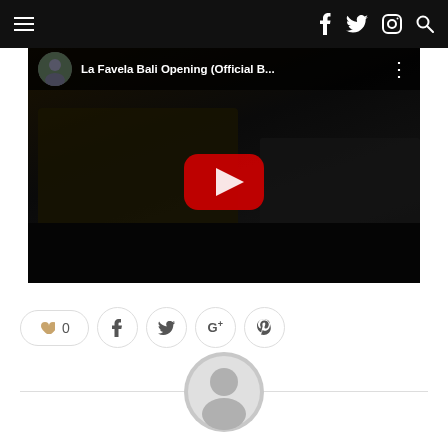Navigation bar with hamburger menu, social icons (Facebook, Twitter, Instagram) and search
[Figure (screenshot): YouTube video embed showing 'La Favela Bali Opening (Official B...' with dark scene of old cars and a YouTube play button overlay]
[Figure (other): Social share bar with heart/like button showing 0 likes, Facebook, Twitter, Google+, and Pinterest share buttons]
[Figure (other): Author avatar placeholder (grey circle with person silhouette) centered at bottom of page]